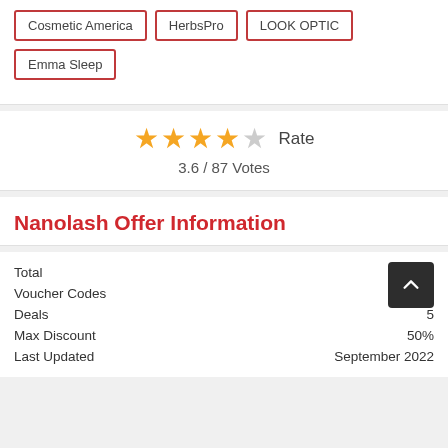Cosmetic America
HerbsPro
LOOK OPTIC
Emma Sleep
[Figure (infographic): Star rating display: 4 filled gold stars and 1 empty grey star, with label 'Rate' and text '3.6 / 87 Votes']
Nanolash Offer Information
|  |  |
| --- | --- |
| Total |  |
| Voucher Codes |  |
| Deals | 5 |
| Max Discount | 50% |
| Last Updated | September 2022 |